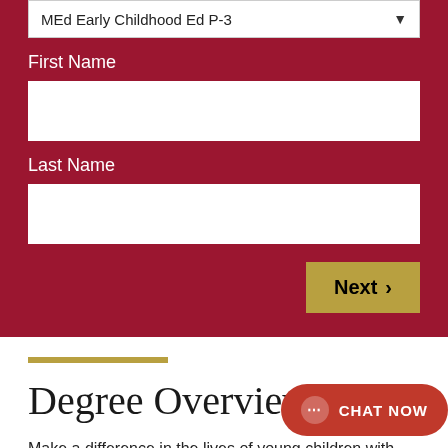MEd Early Childhood Ed P-3
First Name
Last Name
Next
Degree Overview
Make a difference in the lives of young children with our online master's in early childhood e... meet the educational, social and emotional needs of